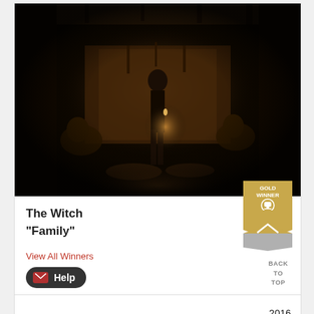[Figure (photo): Dark cinematic still from the film 'The Witch' showing a figure standing in a dimly lit wooden room with a candle, surrounded by other figures seated around a table]
The Witch
"Family"
[Figure (illustration): Gold Winner badge/ribbon award icon]
View All Winners
Help
BACK TO TOP
2016